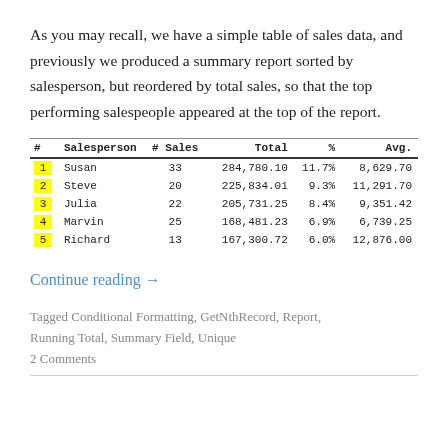As you may recall, we have a simple table of sales data, and previously we produced a summary report sorted by salesperson, but reordered by total sales, so that the top performing salespeople appeared at the top of the report.
| # | Salesperson | # Sales | Total | % | Avg. |
| --- | --- | --- | --- | --- | --- |
| 1 | Susan | 33 | 284,780.10 | 11.7% | 8,629.70 |
| 2 | Steve | 20 | 225,834.01 | 9.3% | 11,291.70 |
| 3 | Julia | 22 | 205,731.25 | 8.4% | 9,351.42 |
| 4 | Marvin | 25 | 168,481.23 | 6.9% | 6,739.25 |
| 5 | Richard | 13 | 167,300.72 | 6.0% | 12,876.00 |
Continue reading →
Tagged Conditional Formatting, GetNthRecord, Report, Running Total, Summary Field, Unique
2 Comments